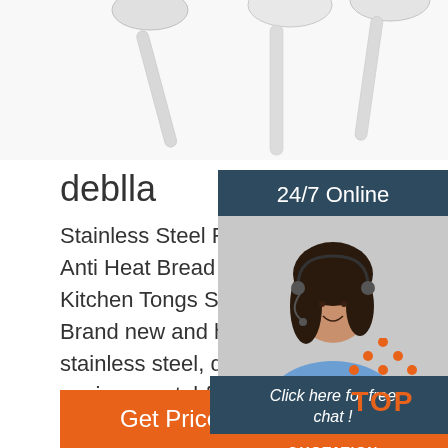[Figure (photo): Stainless steel cutlery/spoons photographed from above on white background]
deblla
Stainless Steel Food Tongs Buffet Coo Anti Heat Bread Clip Pastry Clamp Ba Kitchen Tongs Steel Kitchen Utensils Brand new and high quality. Made of h stainless steel, dust-proof, non-toxic, environmental-frie..
[Figure (photo): Customer service representative woman with headset smiling, with 24/7 Online label, Click here for free chat text, and QUOTATION button]
[Figure (other): TOP back-to-top button with orange dots forming an upward triangle above the word TOP in orange]
Get Price